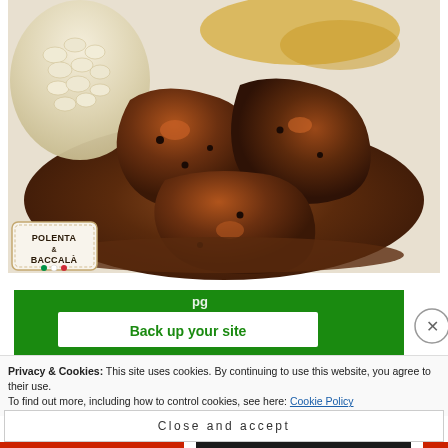[Figure (photo): Close-up food photograph of braised meat chunks in dark glossy sauce with white beans and polenta on a plate. A circular logo badge in the bottom-left reads 'POLENTA & BACCALÀ' with Italian flag colored dots.]
[Figure (screenshot): Green advertisement banner with white box overlay reading 'Back up your site' in green text.]
Privacy & Cookies: This site uses cookies. By continuing to use this website, you agree to their use.
To find out more, including how to control cookies, see here: Cookie Policy
Close and accept